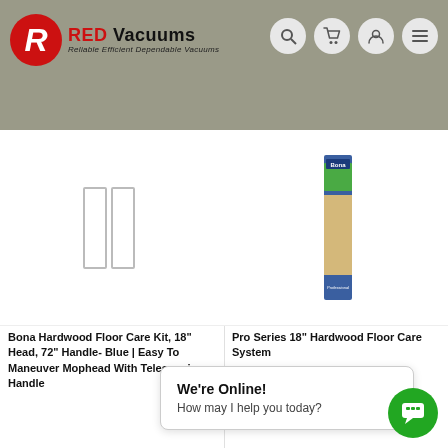RED Vacuums — Reliable Efficient Dependable Vacuums
[Figure (photo): Bona Hardwood Floor Care Kit product image — two rectangular white panels shown side by side]
Bona Hardwood Floor Care Kit, 18" Head, 72" Handle- Blue | Easy To Maneuver Mophead With Telescopic Handle
$69.99
[Figure (photo): Pro Series 18" Hardwood Floor Care System product image — tall blue product box]
Pro Series 18" Hardwood Floor Care System
We're Online!
How may I help you today?